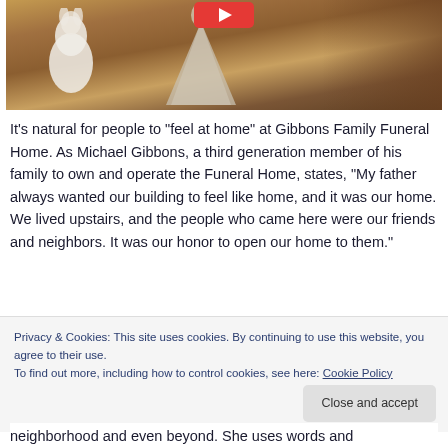[Figure (photo): A warm-toned photograph of decorative figurines on a wooden shelf or table inside Gibbons Family Funeral Home. A white dove or angel figurine is visible on the left, and a large bell-shaped or dress-shaped figurine is in the center. A red play button overlay appears at the top center of the image.]
It’s natural for people to “feel at home” at Gibbons Family Funeral Home. As Michael Gibbons, a third generation member of his family to own and operate the Funeral Home, states, “My father always wanted our building to feel like home, and it was our home. We lived upstairs, and the people who came here were our friends and neighbors. It was our honor to open our home to them.”
Privacy & Cookies: This site uses cookies. By continuing to use this website, you agree to their use.
To find out more, including how to control cookies, see here: Cookie Policy
neighborhood and even beyond. She uses words and